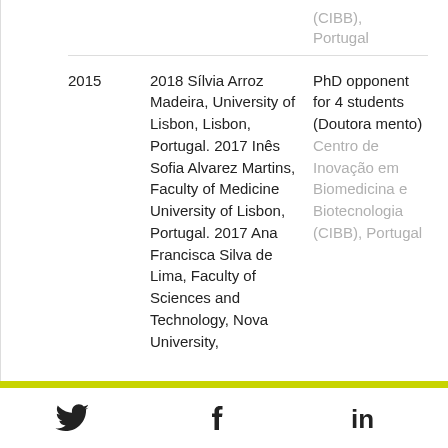| Year | Name/Institution | Role |
| --- | --- | --- |
|  | (CIBB), Portugal |  |
| 2015 | 2018 Sílvia Arroz Madeira, University of Lisbon, Lisbon, Portugal. 2017 Inês Sofia Alvarez Martins, Faculty of Medicine University of Lisbon, Portugal. 2017 Ana Francisca Silva de Lima, Faculty of Sciences and Technology, Nova University... | PhD opponent for 4 students (Doutoramento) Centro de Inovação em Biomedicina e Biotecnologia (CIBB), Portugal |
Twitter  Facebook  LinkedIn